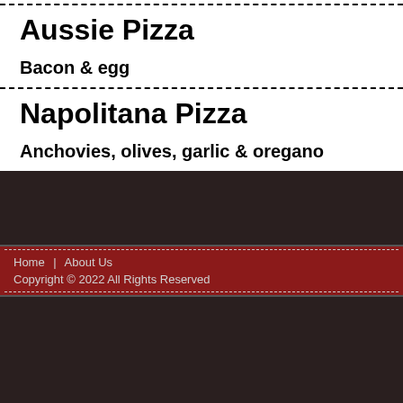Aussie Pizza
Bacon & egg
Napolitana Pizza
Anchovies, olives, garlic & oregano
Home | About Us
Copyright © 2022 All Rights Reserved